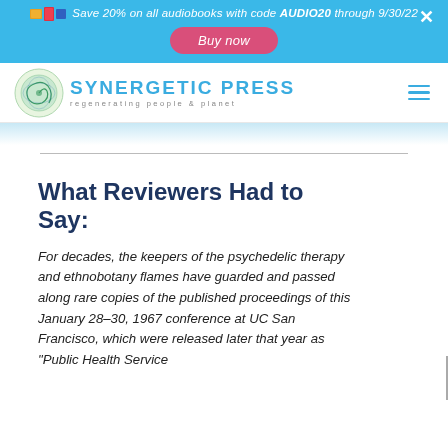Save 20% on all audiobooks with code AUDIO20 through 9/30/22
[Figure (logo): Synergetic Press logo with spiral shell graphic and text 'SYNERGETIC PRESS regenerating people & planet']
What Reviewers Had to Say:
For decades, the keepers of the psychedelic therapy and ethnobotany flames have guarded and passed along rare copies of the published proceedings of this January 28–30, 1967 conference at UC San Francisco, which were released later that year as "Public Health Service